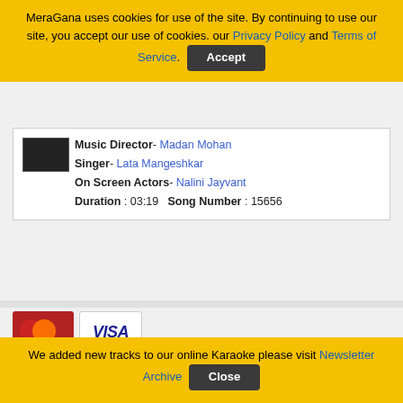MeraGana uses cookies for use of the site. By continuing to use our site, you accept our use of cookies. our Privacy Policy and Terms of Service. Accept
Music Director- Madan Mohan
Singer- Lata Mangeshkar
On Screen Actors- Nalini Jayvant
Duration : 03:19   Song Number : 15656
[Figure (other): Payment method logos: MasterCard, VISA, 2CO, PayPal]
Terms of Service | Privacy Policy| Newsletter Archive
If you believe that any material held in by us infringes your copyright please follow the guidance in our Notice and Take Down policy.
We added new tracks to our online Karaoke please visit Newsletter Archive Close